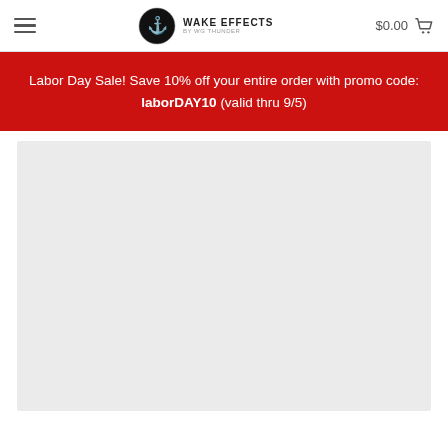Wake Effects — $0.00 cart
Labor Day Sale! Save 10% off your entire order with promo code: laborDAY10 (valid thru 9/5)
[Figure (other): Gray placeholder content area below the promo banner]